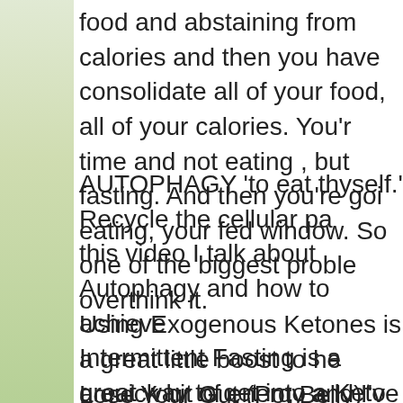food and abstaining from calories and then you have consolidate all of your food, all of your calories. You'r time and not eating , but fasting. And then you're goi eating, your fed window. So one of the biggest proble overthink it.
AUTOPHAGY 'to eat thyself.' Recycle the cellular pa this video I talk about Autophagy and how to achieve Intermittent Fasting is a great way to get into a Keto achieve Autophagy.
Using Exogenous Ketones is a great little boost to he a quick hit of energy and I've even been told it's a ni about Autophagy here: https://www.andrevanier.ca/
Lose Your Gut (Pot Belly) with these Strategies https://www.andrevanier.ca/2020/10/lose-your-gut-po Intermittent Fasting over Age 40 : The Complete Gui